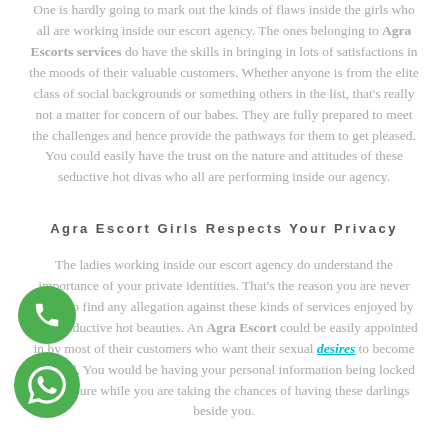One is hardly going to mark out the kinds of flaws inside the girls who all are working inside our escort agency. The ones belonging to Agra Escorts services do have the skills in bringing in lots of satisfactions in the moods of their valuable customers. Whether anyone is from the elite class of social backgrounds or something others in the list, that's really not a matter for concern of our babes. They are fully prepared to meet the challenges and hence provide the pathways for them to get pleased. You could easily have the trust on the nature and attitudes of these seductive hot divas who all are performing inside our agency.
Agra Escort Girls Respects Your Privacy
The ladies working inside our escort agency do understand the importance of your private identities. That's the reason you are never going to find any allegation against these kinds of services enjoyed by these seductive hot beauties. An Agra Escort could be easily appointed in by most of their customers who want their sexual desires to become fulfilled. You would be having your personal information being locked up for sure while you are taking the chances of having these darlings beside you.